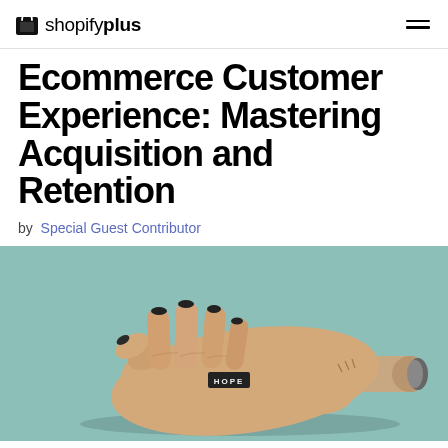shopify plus
Ecommerce Customer Experience: Mastering Acquisition and Retention
by Special Guest Contributor
[Figure (photo): A prosthetic hand with a small label reading 'HOPE' on the back, lying flat against a pale teal/mint background. The hand has a cylindrical attachment point at the wrist.]